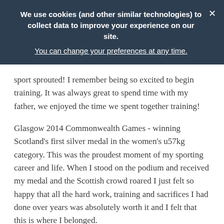We use cookies (and other similar technologies) to collect data to improve your experience on our site. You can change your preferences at any time.
sport sprouted! I remember being so excited to begin training. It was always great to spend time with my father, we enjoyed the time we spent together training!
Glasgow 2014 Commonwealth Games - winning Scotland's first silver medal in the women's u57kg category. This was the proudest moment of my sporting career and life. When I stood on the podium and received my medal and the Scottish crowd roared I just felt so happy that all the hard work, training and sacrifices I had done over years was absolutely worth it and I felt that this is where I belonged.
MY GREATEST CHALLENGE
The first half of 2012 was very difficult. I was completing my final year at university - 4 modules = 4 essays and 4 exams along with completing my 15k word dissertation. It was